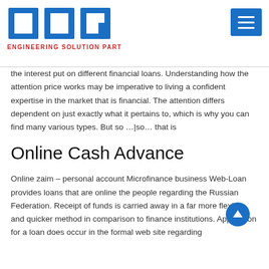OCC ENGINEERING SOLUTION PARTNER
the interest put on different financial loans. Understanding how the attention price works may be imperative to living a confident expertise in the market that is financial. The attention differs dependent on just exactly what it pertains to, which is why you can find many various types. But so …|so… that is
Online Cash Advance
Online zaim – personal account Microfinance business Web-Loan provides loans that are online the people regarding the Russian Federation. Receipt of funds is carried away in a far more flexible and quicker method in comparison to finance institutions. Application for a loan does occur in the formal web site regarding